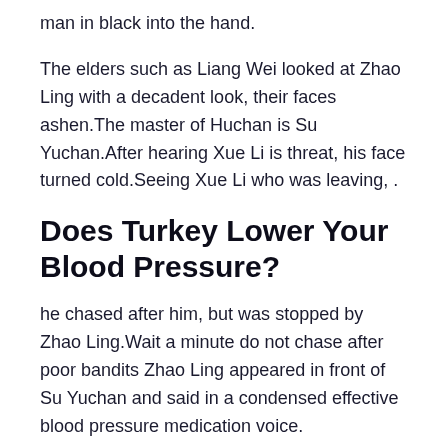man in black into the hand.
The elders such as Liang Wei looked at Zhao Ling with a decadent look, their faces ashen.The master of Huchan is Su Yuchan.After hearing Xue Li is threat, his face turned cold.Seeing Xue Li who was leaving, .
Does Turkey Lower Your Blood Pressure?
he chased after him, but was stopped by Zhao Ling.Wait a minute do not chase after poor bandits Zhao Ling appeared in front of Su Yuchan and said in a condensed effective blood pressure medication voice.
You really do not want to Lin Lin looked at Zhao Ling and asked again, his tone also became a little colder.